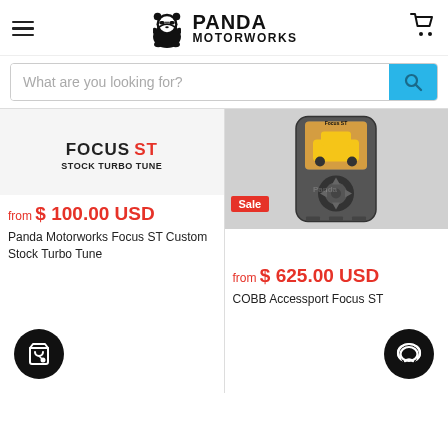[Figure (logo): Panda Motorworks logo: panda with sunglasses and headphones, bold text PANDA MOTORWORKS]
What are you looking for?
[Figure (screenshot): Product card: Focus ST Stock Turbo Tune image with text, price from $100.00 USD, title Panda Motorworks Focus ST Custom Stock Turbo Tune, add to cart button]
[Figure (screenshot): Product card: COBB Accessport device with yellow Ford Focus ST on screen, Sale badge, price from $625.00 USD, title COBB Accessport Focus ST]